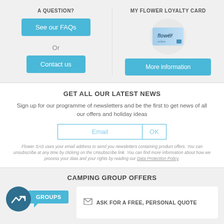A QUESTION?
See our FAQs
Or
Contact us
MY FLOWER LOYALTY CARD
[Figure (illustration): Flower loyalty card image inside a circle]
More information
GET ALL OUR LATEST NEWS
Sign up for our programme of newsletters and be the first to get news of all our offers and holiday ideas
Email
OK
Flower SAS uses your email address to send you newsletters containing product offers. You can unsubscribe at any time by clicking on the Unsubscribe link. You can find more information about how we process your data and your rights by reading our Data Protection Policy.
CAMPING GROUP OFFERS
GROUPS
ASK FOR A FREE, PERSONAL QUOTE